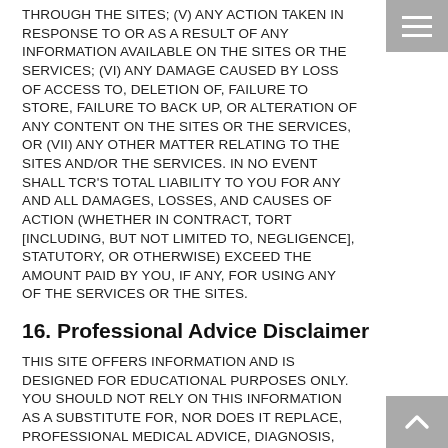THROUGH THE SITES; (v) ANY ACTION TAKEN IN RESPONSE TO OR AS A RESULT OF ANY INFORMATION AVAILABLE ON THE SITES OR THE SERVICES; (vi) ANY DAMAGE CAUSED BY LOSS OF ACCESS TO, DELETION OF, FAILURE TO STORE, FAILURE TO BACK UP, OR ALTERATION OF ANY CONTENT ON THE SITES OR THE SERVICES, or (vii) ANY OTHER MATTER RELATING TO THE SITES AND/OR THE SERVICES. IN NO EVENT SHALL TCR'S TOTAL LIABILITY TO YOU FOR ANY AND ALL DAMAGES, LOSSES, AND CAUSES OF ACTION (WHETHER IN CONTRACT, TORT [INCLUDING, BUT NOT LIMITED TO, NEGLIGENCE], STATUTORY, OR OTHERWISE) EXCEED THE AMOUNT PAID BY YOU, IF ANY, FOR USING ANY OF THE SERVICES OR THE SITES.
16. Professional Advice Disclaimer
THIS SITE OFFERS INFORMATION AND IS DESIGNED FOR EDUCATIONAL PURPOSES ONLY. YOU SHOULD NOT RELY ON THIS INFORMATION AS A SUBSTITUTE FOR, NOR DOES IT REPLACE, PROFESSIONAL MEDICAL ADVICE, DIAGNOSIS, OR TREATMENT. IF YOU HAVE ANY CONCERNS OR QUESTIONS ABOUT YOUR HEALTH, YOU SHOULD ALWAYS CONSULT WITH A PHYSICIAN OR OTHER HEALTH-CARE PROFESSIONAL. DO NOT DISREGARD, AVOID OR DELAY